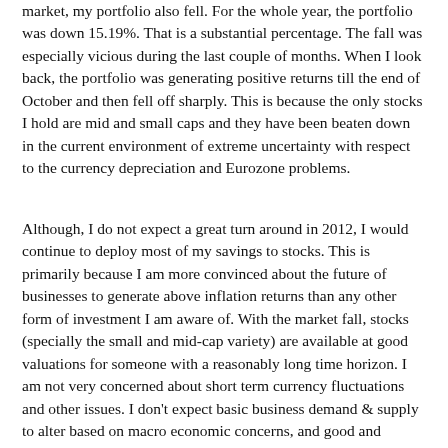market, my portfolio also fell. For the whole year, the portfolio was down 15.19%. That is a substantial percentage. The fall was especially vicious during the last couple of months. When I look back, the portfolio was generating positive returns till the end of October and then fell off sharply. This is because the only stocks I hold are mid and small caps and they have been beaten down in the current environment of extreme uncertainty with respect to the currency depreciation and Eurozone problems.
Although, I do not expect a great turn around in 2012, I would continue to deploy most of my savings to stocks. This is primarily because I am more convinced about the future of businesses to generate above inflation returns than any other form of investment I am aware of. With the market fall, stocks (specially the small and mid-cap variety) are available at good valuations for someone with a reasonably long time horizon. I am not very concerned about short term currency fluctuations and other issues. I don't expect basic business demand & supply to alter based on macro economic concerns, and good and resilient businesses should be able to weather the storm.